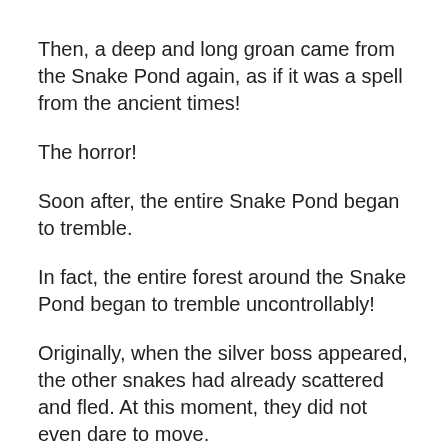Then, a deep and long groan came from the Snake Pond again, as if it was a spell from the ancient times!
The horror!
Soon after, the entire Snake Pond began to tremble.
In fact, the entire forest around the Snake Pond began to tremble uncontrollably!
Originally, when the silver boss appeared, the other snakes had already scattered and fled. At this moment, they did not even dare to move.
One after another, they threw themselves on the ground. It was as if they were bowing to an entirely strong and powerful existence!
This was an act of absolute submission. It was a